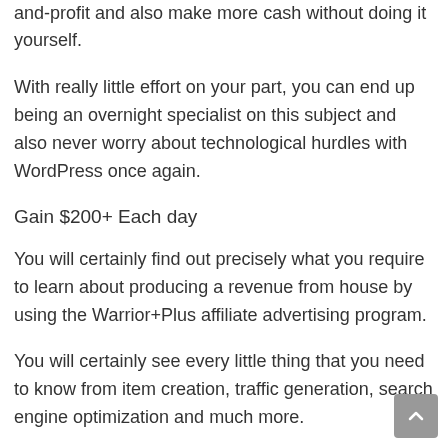and-profit and also make more cash without doing it yourself.
With really little effort on your part, you can end up being an overnight specialist on this subject and also never worry about technological hurdles with WordPress once again.
Gain $200+ Each day
You will certainly find out precisely what you require to learn about producing a revenue from house by using the Warrior+Plus affiliate advertising program.
You will certainly see every little thing that you need to know from item creation, traffic generation, search engine optimization and much more.
You will certainly additionally get access to the private forum